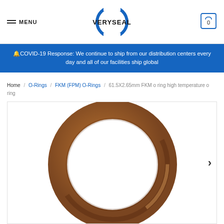VERYSEAL — MENU / Cart (0)
🔔COVID-19 Response: We continue to ship from our distribution centers every day and all of our facilities ship global
Home / O-Rings / FKM (FPM) O-Rings / 61.5X2.65mm FKM o ring high temperature o ring
[Figure (photo): A brown FKM/FPM o-ring product photo showing a circular rubber seal ring on a white background.]